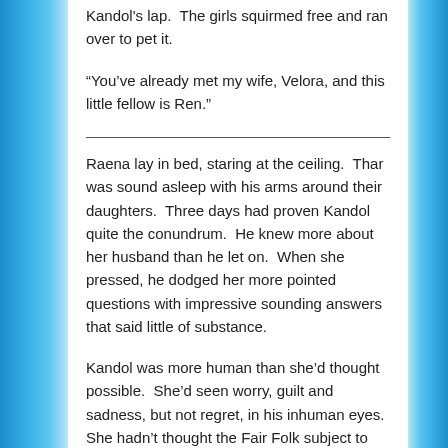Kandol’s lap.  The girls squirmed free and ran over to pet it.
“You’ve already met my wife, Velora, and this little fellow is Ren.”
Raena lay in bed, staring at the ceiling.  Thar was sound asleep with his arms around their daughters.  Three days had proven Kandol quite the conundrum.  He knew more about her husband than he let on.  When she pressed, he dodged her more pointed questions with impressive sounding answers that said little of substance.
Kandol was more human than she’d thought possible.  She’d seen worry, guilt and sadness, but not regret, in his inhuman eyes.  She hadn’t thought the Fair Folk subject to Mankind’s frailties, but the price of his choices was etched into his face.  His was a gentle soul, stained by Sorrow and tempered with learned caution.  He was well